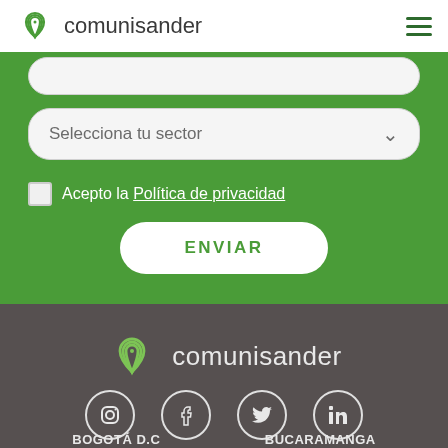comunisander
[Figure (screenshot): Green form section with dropdown 'Selecciona tu sector', checkbox for privacy policy, and ENVIAR button]
Selecciona tu sector
Acepto la Política de privacidad
ENVIAR
[Figure (logo): Comunisander logo with rainbow/signal icon in footer dark section]
[Figure (infographic): Social media icons: Instagram, Facebook, Twitter, LinkedIn in circles]
BOGOTÁ D.C
BUCARAMANGA